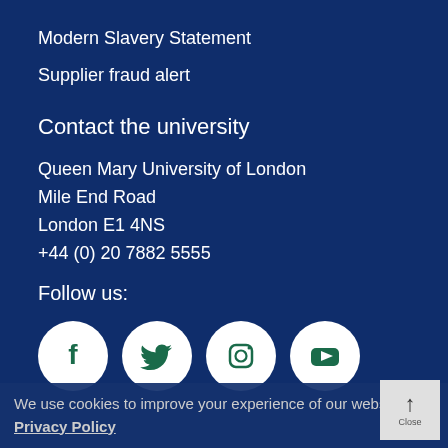Modern Slavery Statement
Supplier fraud alert
Contact the university
Queen Mary University of London
Mile End Road
London E1 4NS
+44 (0) 20 7882 5555
Follow us:
[Figure (illustration): Four social media icons in white circles on dark blue background: Facebook, Twitter, Instagram, YouTube]
We use cookies to improve your experience of our website. Privacy Policy